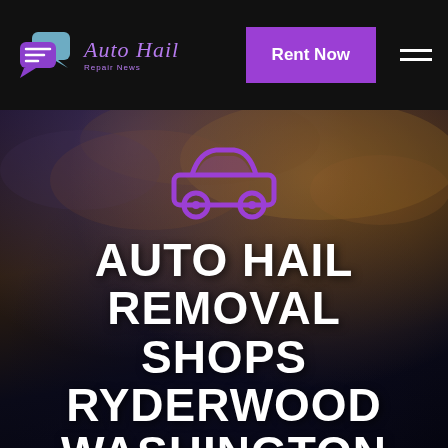[Figure (logo): Auto Hail Repair News logo with purple chat bubble icons and purple script text]
Rent Now
[Figure (illustration): Purple car icon outline on dark atmospheric sky background with car silhouette at bottom]
AUTO HAIL REMOVAL SHOPS RYDERWOOD WASHINGTON
We remove auto hail damage dents